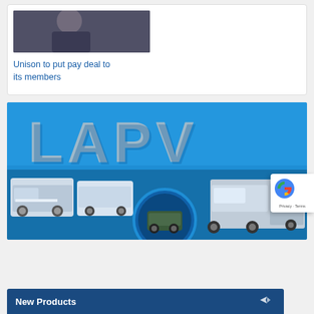[Figure (photo): Photo of a person wearing a dark t-shirt, cropped at top]
Unison to put pay deal to its members
[Figure (illustration): LAPV magazine/brand banner in blue with large grey LAPV text and images of municipal vehicles including sweepers and utility trucks]
New Products